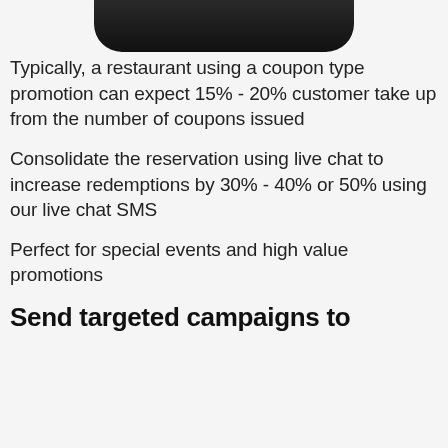[Figure (photo): Bottom portion of a smartphone device shown at the top of the page]
Typically, a restaurant using a coupon type promotion can expect 15% - 20% customer take up from the number of coupons issued
Consolidate the reservation using live chat to increase redemptions by 30% - 40% or 50% using our live chat SMS
Perfect for special events and high value promotions
Send targeted campaigns to